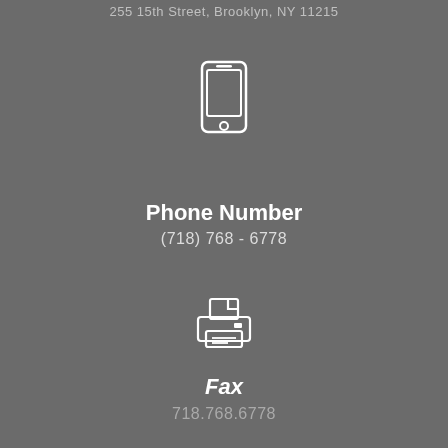255 15th Street, Brooklyn, NY 11215
[Figure (illustration): White outline icon of a mobile phone/smartphone]
Phone Number
(718) 768 - 6778
[Figure (illustration): White outline icon of a printer/fax machine with paper]
Fax
718.768.6778